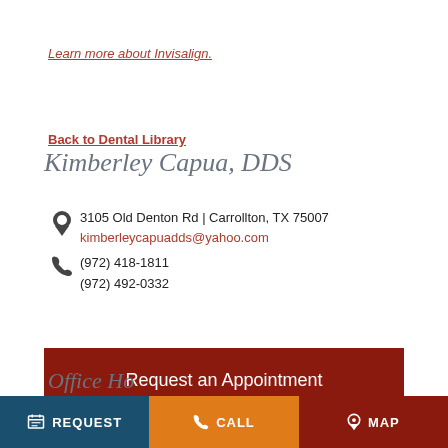Learn more about Invisalign.
Back to Dental Library
Kimberley Capua, DDS
3105 Old Denton Rd | Carrollton, TX 75007
kimberleycapuadds@yahoo.com
(972) 418-1811
(972) 492-0332
Request an Appointment
REQUEST   CALL   MAP